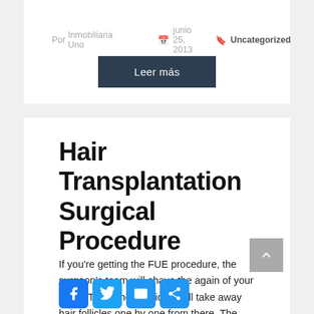Por Inmobiliaria Uno   junio 25, 2013   Uncategorized
Leer más
Hair Transplantation Surgical Procedure
If you're getting the FUE procedure, the surgeon's team will shave the again of your scalp. Then, the physician will take away hair follicles one by one from there. The space heals with small dots, which your existing hair will cowl. Without a donor site with good density a hair transplant cannot be carried out […]